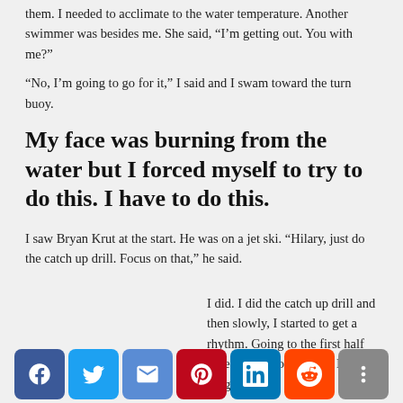them. I needed to acclimate to the water temperature. Another swimmer was besides me. She said, “I’m getting out. You with me?”
“No, I’m going to go for it,” I said and I swam toward the turn buoy.
My face was burning from the water but I forced myself to try to do this. I have to do this.
I saw Bryan Krut at the start. He was on a jet ski. “Hilary, just do the catch up drill. Focus on that,” he said.
I did. I did the catch up drill and then slowly, I started to get a rhythm. Going to the first half mile wasn’t horrendous. It was rough but